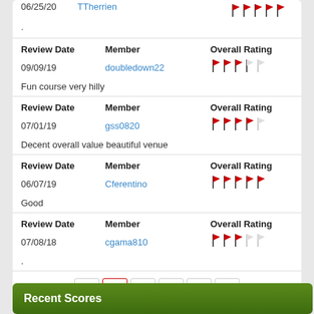06/25/20 | TTherrien | 5 stars
.
| Review Date | Member | Overall Rating |
| --- | --- | --- |
| 09/09/19 | doubledown22 | 3/5 stars |
| Fun course very hilly |  |  |
| Review Date | Member | Overall Rating |
| --- | --- | --- |
| 07/01/19 | gss0820 | 4/5 stars |
| Decent overall value beautiful venue |  |  |
| Review Date | Member | Overall Rating |
| --- | --- | --- |
| 06/07/19 | Cferentino | 5/5 stars |
| Good |  |  |
| Review Date | Member | Overall Rating |
| --- | --- | --- |
| 07/08/18 | cgama810 | 3/5 stars |
| . |  |  |
« 1 2 3 4 »
Recent Scores